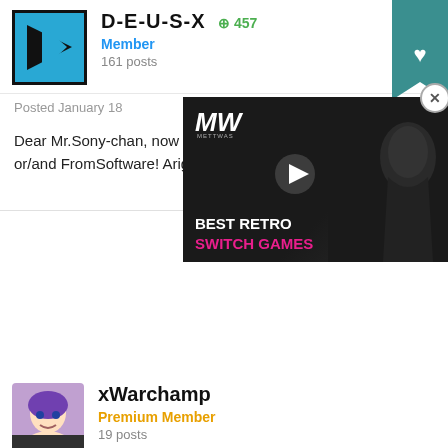D-E-U-S-X  +457
Member
161 posts
Posted January 18
Dear Mr.Sony-chan, now is your turn to acquire SquareEnix or/and FromSoftware! Arigato...
❤ 20
xWarchamp
Premium Member
19 posts
Posted January 18
[Figure (screenshot): Advertisement overlay showing MW logo and text 'BEST RETRO SWITCH GAMES' with a play button over a dark gaming image]
BEST RETRO
SWITCH GAMES